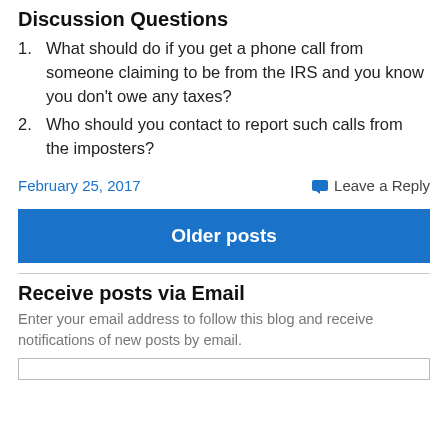Discussion Questions
What should do if you get a phone call from someone claiming to be from the IRS and you know you don't owe any taxes?
Who should you contact to report such calls from the imposters?
February 25, 2017    Leave a Reply
Older posts
Receive posts via Email
Enter your email address to follow this blog and receive notifications of new posts by email.